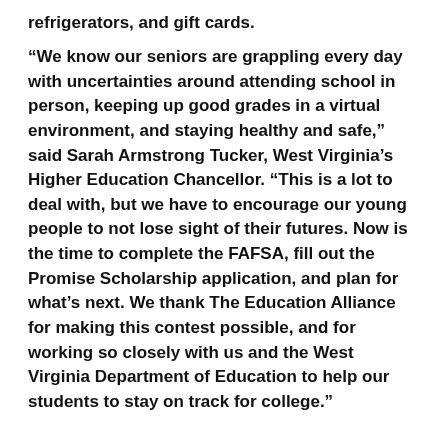refrigerators, and gift cards.
“We know our seniors are grappling every day with uncertainties around attending school in person, keeping up good grades in a virtual environment, and staying healthy and safe,” said Sarah Armstrong Tucker, West Virginia’s Higher Education Chancellor. “This is a lot to deal with, but we have to encourage our young people to not lose sight of their futures. Now is the time to complete the FAFSA, fill out the Promise Scholarship application, and plan for what’s next. We thank The Education Alliance for making this contest possible, and for working so closely with us and the West Virginia Department of Education to help our students to stay on track for college.”